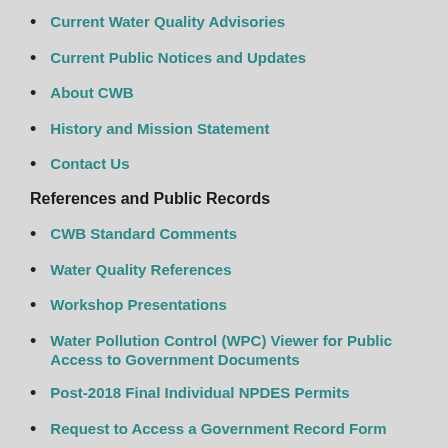Current Water Quality Advisories
Current Public Notices and Updates
About CWB
History and Mission Statement
Contact Us
References and Public Records
CWB Standard Comments
Water Quality References
Workshop Presentations
Water Pollution Control (WPC) Viewer for Public Access to Government Documents
Post-2018 Final Individual NPDES Permits
Request to Access a Government Record Form